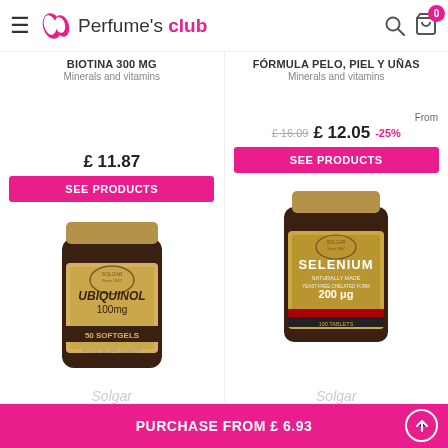Perfume's club
BIOTINA 300 μg
Minerals and vitamins
FÓRMULA PELO, PIEL Y UÑAS
Minerals and vitamins
£ 11.87
From £ 12.05  -25%  (was £16.09)
SEE PRODUCTS
SEE PRODUCTS
[Figure (photo): Solgar Ubiquinol 100mg 50 Softgels supplement bottle]
[Figure (photo): Solgar Selenium 200μg tablets supplement bottle]
Solgar
Solgar
PURCHASE FROM £ 6.93